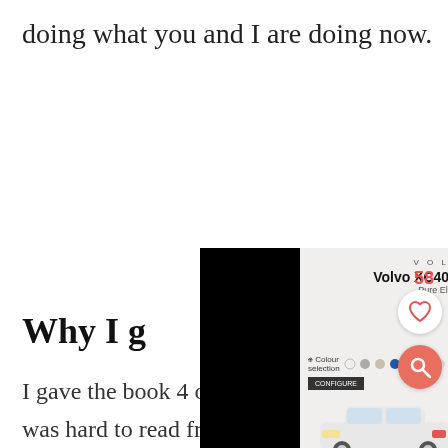doing what you and I are doing now.
[Figure (screenshot): Volvo XC40 Recharge Pure Electric advertisement with black side panels, color selection circles, and car image at bottom. Side UI elements show 58 count, heart/like button, and search button.]
Why I g
I gave the book 4 out of 5 stars because it
was hard to read from cover to cover. I found